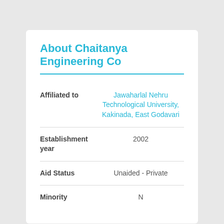About Chaitanya Engineering Co
|  |  |
| --- | --- |
| Affiliated to | Jawaharlal Nehru Technological University, Kakinada, East Godavari |
| Establishment year | 2002 |
| Aid Status | Unaided - Private |
| Minority | N |